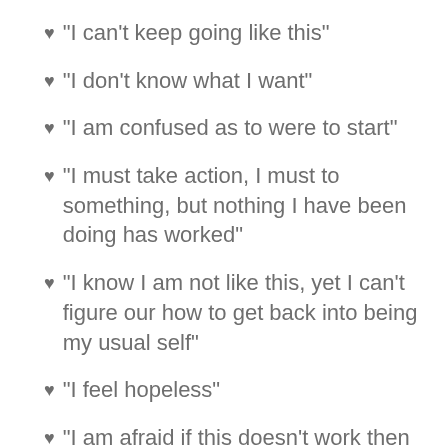♥ "I can't keep going like this"
♥ "I don't know what I want"
♥ "I am confused as to were to start"
♥ "I must take action, I must to something, but nothing I have been doing has worked"
♥ "I know I am not like this, yet I can't figure our how to get back into being my usual self"
♥ "I feel hopeless"
♥ "I am afraid if this doesn't work then that will be the end of it"